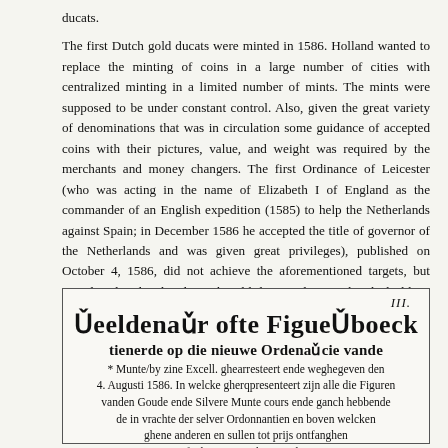ducats.

The first Dutch gold ducats were minted in 1586. Holland wanted to replace the minting of coins in a large number of cities with centralized minting in a limited number of mints. The mints were supposed to be under constant control. Also, given the great variety of denominations that was in circulation some guidance of accepted coins with their pictures, value, and weight was required by the merchants and money changers. The first Ordinance of Leicester (who was acting in the name of Elizabeth I of England as the commander of an English expedition (1585) to help the Netherlands against Spain; in December 1586 he accepted the title of governor of the Netherlands and was given great privileges), published on October 4, 1586, did not achieve the aforementioned targets, but introduced and ordered Dutch gold ducats, along with rijksdaalders, to be used in trade so as to help promote trade.
[Figure (other): A historical document image showing a title page in blackletter/Gothic script. Top right: 'III.' Roman numeral. Large Gothic text: 'Beeldenaer ofte Figuerboeck'. Subtitle: 'tienerde op die nieuwe Ordenarc ie vande'. Smaller text below: 'Munte/by zine Excell. ghearresteert ende weghegeven den 4. Augusti 1586. In welcke gherqpresenteert zijn alle die Figuren vanden Goude ende Silvere Munte cours ende ganch hebbende in vrachte der selver Ordonnantien en boven welcken ghene anderen en sullen tot prijs ontfanghen ofte besteet moghen werden.']